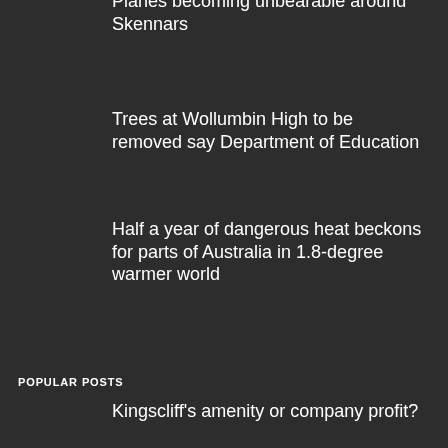Planes becoming unbearable around Skennars
Trees at Wollumbin High to be removed say Department of Education
Half a year of dangerous heat beckons for parts of Australia in 1.8-degree warmer world
POPULAR POSTS
Kingscliff's amenity or company profit?